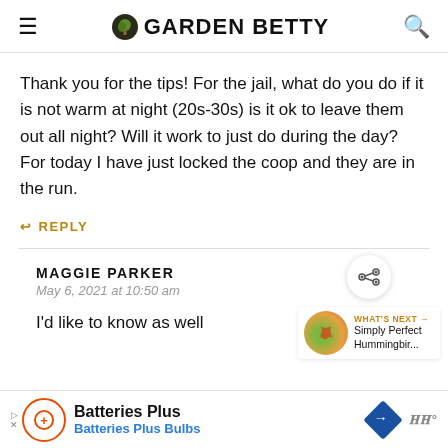GARDEN BETTY
Thank you for the tips! For the jail, what do you do if it is not warm at night (20s-30s) is it ok to leave them out all night? Will it work to just do during the day? For today I have just locked the coop and they are in the run.
↩ REPLY
MAGGIE PARKER
May 6, 2021 at 10:50 am
I'd like to know as well
[Figure (screenshot): Batteries Plus advertisement bar at bottom of page]